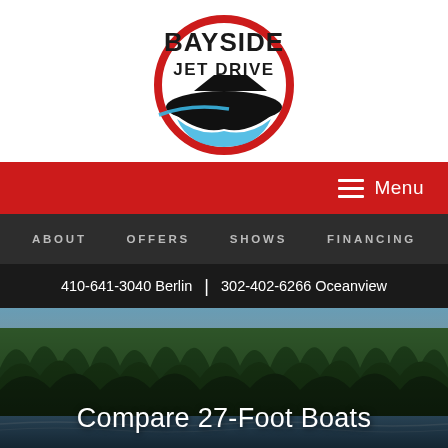[Figure (logo): Bayside Jet Drive logo: circular red ring with a black speedboat silhouette and blue water, bold text BAYSIDE JET DRIVE]
[Figure (infographic): Red navigation bar with hamburger menu icon and Menu text on the right]
[Figure (infographic): Dark gray navigation bar with links: ABOUT, OFFERS, SHOWS, FINANCING]
410-641-3040 Berlin | 302-402-6266 Oceanview
[Figure (photo): Outdoor scenic photo of a tree-lined waterway with blue sky in the background]
Compare 27-Foot Boats